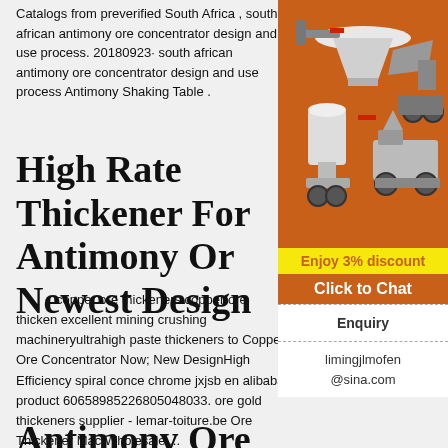Catalogs from preverified South Africa , south african antimony ore concentrator design and use process. 20180923· south african antimony ore concentrator design and use process Antimony Shaking Table .
High Rate Thickener For Antimony Or Newest Design
copper ore thickeners copper ore thicken excellent mining crushing machineryultrahigh paste thickeners to Copper Ore Concentrator Now; New DesignHigh Efficiency spiral conce chrome jxjsb en alibaba product 60658985226805048033. ore gold thickeners supplier - lemar-toiture.be Ore Thickener Mac Wholesale ...
[Figure (illustration): Orange background advertisement panel showing mining/crushing machinery equipment including cone crushers and mobile crushing units, with 'Enjoy 3% discount' yellow bar and 'Click to Chat' orange bar, plus Enquiry section and email limingjlmofen@sina.com]
Antimony Ore